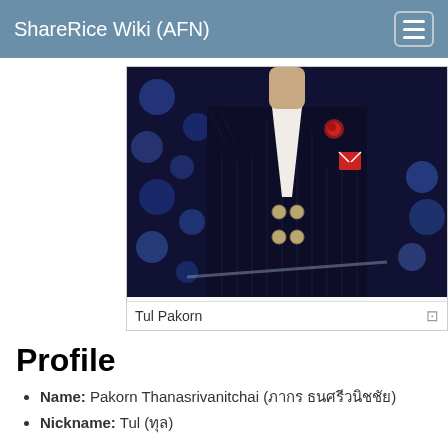ShareRice Wiki (AFN)
[Figure (photo): Photo of Tul Pakorn wearing a dark navy pinstripe double-breasted suit with a red flower boutonniere and red pocket square, standing in front of a blue bokeh light background.]
Tul Pakorn
Profile
Name: Pakorn Thanasrivanitchai (ภากร ธนศรีวนิชชัย)
Nickname: Tul (ทุล)